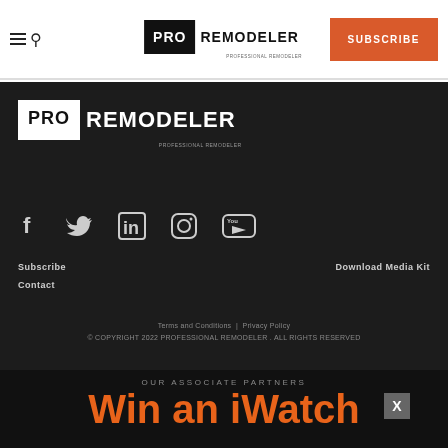PRO REMODELER | SUBSCRIBE
[Figure (logo): Pro Remodeler logo in white on black background with PROFESSIONAL REMODELER subtitle, large version in footer area]
[Figure (illustration): Social media icons row: Facebook, Twitter, LinkedIn, Instagram, YouTube]
Subscribe
Contact
Download Media Kit
Terms and Conditions | Privacy Policy
© COPYRIGHT 2022 PROFESSIONAL REMODELER . ALL RIGHTS RESERVED
OUR ASSOCIATE PARTNERS
Win an iWatch